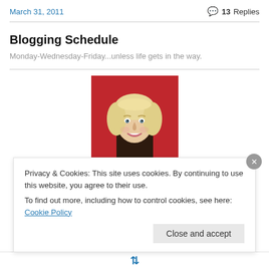March 31, 2011 | 13 Replies
Blogging Schedule
Monday-Wednesday-Friday...unless life gets in the way.
[Figure (photo): Portrait photo of a blonde woman smiling, against a red background]
Privacy & Cookies: This site uses cookies. By continuing to use this website, you agree to their use.
To find out more, including how to control cookies, see here: Cookie Policy
Close and accept